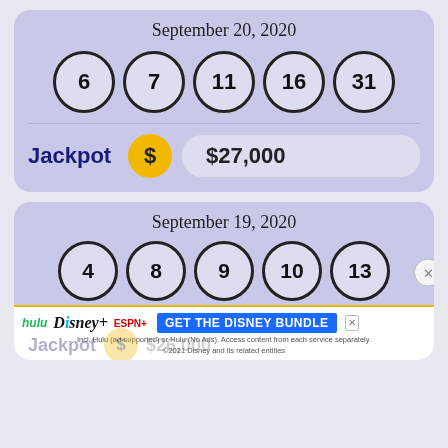[Figure (infographic): Lottery result card for September 20, 2020 showing balls numbered 6, 7, 11, 16, 31 and jackpot of $27,000]
[Figure (infographic): Lottery result card for September 19, 2020 showing balls numbered 4, 8, 9, 10, 13 and jackpot of $26,000 (partially visible with ad overlay)]